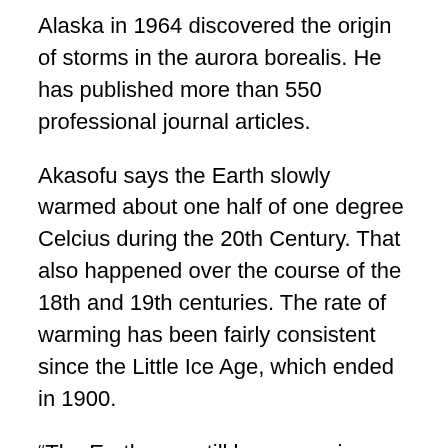Alaska in 1964 discovered the origin of storms in the aurora borealis. He has published more than 550 professional journal articles.
Akasofu says the Earth slowly warmed about one half of one degree Celcius during the 20th Century. That also happened over the course of the 18th and 19th centuries. The rate of warming has been fairly consistent since the Little Ice Age, which ended in 1900.
“The Earth may still be recovering from the Little Ice Age,” Akasofu said. If that is true, there is no need to blame greenhouse gases for warming in the 20th Century.
In other words, if there has been slight (one half degree) global warming, it is part of a cycle and not man made. The Norwegian Sea has been continuously receding since 1900 due to the North Atlantic Oscillation—a natural